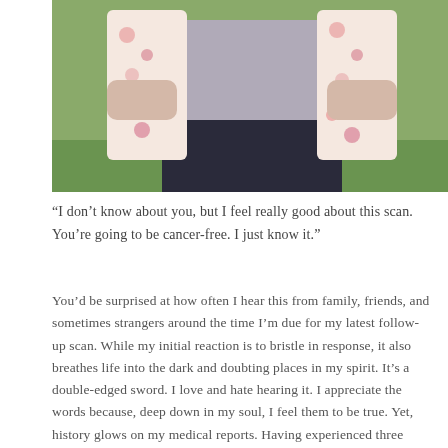[Figure (photo): A woman wearing a floral kimono cardigan over a grey t-shirt, standing outdoors on grass. Photo is cropped showing the torso area.]
“I don’t know about you, but I feel really good about this scan. You’re going to be cancer-free. I just know it.”
You’d be surprised at how often I hear this from family, friends, and sometimes strangers around the time I’m due for my latest follow-up scan. While my initial reaction is to bristle in response, it also breathes life into the dark and doubting places in my spirit. It’s a double-edged sword. I love and hate hearing it. I appreciate the words because, deep down in my soul, I feel them to be true. Yet, history glows on my medical reports. Having experienced three recurrences, I’m cautious and timid about predicting what’s to come. The truth is, we never know what the results of each scan will be until my doctor presents them to me face-to-face.